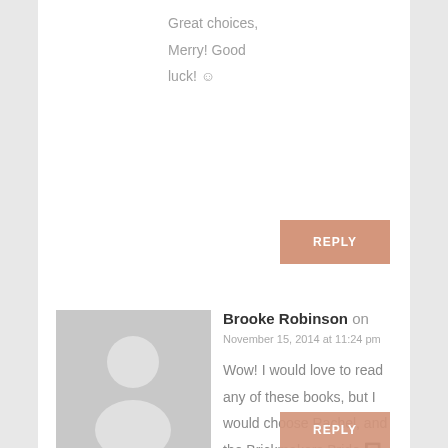Great choices, Merry! Good luck! ☺
REPLY
[Figure (illustration): Gray placeholder avatar silhouette of a person on a light gray square background]
Brooke Robinson on
November 15, 2014 at 11:24 pm
Wow! I would love to read any of these books, but I would choose Rachel, and the Brickmakers Bride 🔲
REPLY